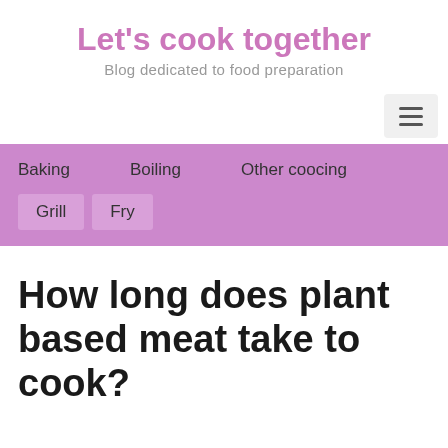Let's cook together
Blog dedicated to food preparation
Baking   Boiling   Other coocing   Grill   Fry
How long does plant based meat take to cook?